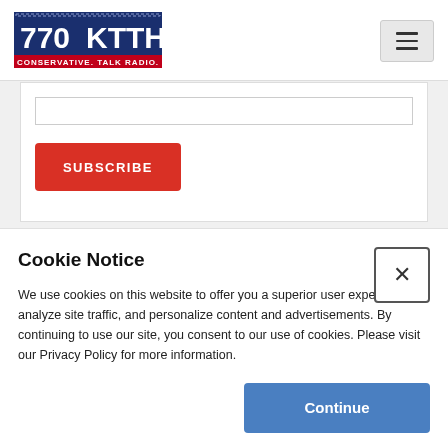[Figure (logo): 770 KTTH Conservative Talk Radio logo — white text on dark blue background with red underline banner]
SUBSCRIBE
Cookie Notice
We use cookies on this website to offer you a superior user experience, analyze site traffic, and personalize content and advertisements. By continuing to use our site, you consent to our use of cookies. Please visit our Privacy Policy for more information.
Continue